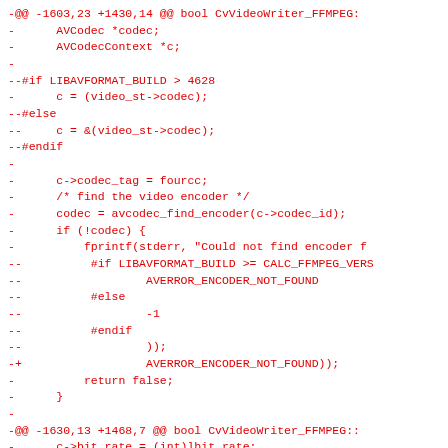-@@ -1603,23 +1430,14 @@ bool CvVideoWriter_FFMPEG::
-      AVCodec *codec;
-      AVCodecContext *c;
-
--#if LIBAVFORMAT_BUILD > 4628
-      c = (video_st->codec);
--#else
--     c = &(video_st->codec);
--#endif
-
-      c->codec_tag = fourcc;
-      /* find the video encoder */
-      codec = avcodec_find_encoder(c->codec_id);
-      if (!codec) {
-          fprintf(stderr, "Could not find encoder f
--          #if LIBAVFORMAT_BUILD >= CALC_FFMPEG_VERS
--                  AVERROR_ENCODER_NOT_FOUND
--          #else
--                  -1
--          #endif
--                  ));
-+                  AVERROR_ENCODER_NOT_FOUND));
-          return false;
-      }
-
-@@ -1630,13 +1468,7 @@ bool CvVideoWriter_FFMPEG::
-      c->bit_rate = (int)lbit_rate;
-
-      /* open the codec */
--     if ((err=
-  #if LIBAVCODEC_VERSION_INT >= ((52<<16)+(64<<8)+0